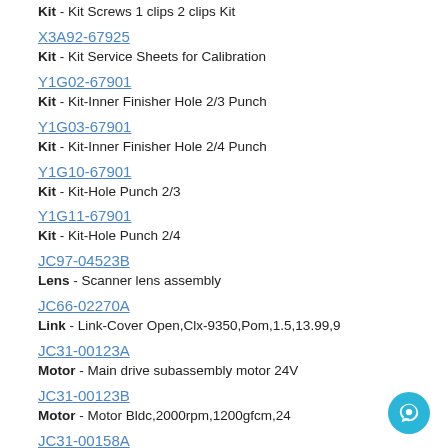Kit - Kit Screws 1 clips 2 clips Kit
X3A92-67925
Kit - Kit Service Sheets for Calibration
Y1G02-67901
Kit - Kit-Inner Finisher Hole 2/3 Punch
Y1G03-67901
Kit - Kit-Inner Finisher Hole 2/4 Punch
Y1G10-67901
Kit - Kit-Hole Punch 2/3
Y1G11-67901
Kit - Kit-Hole Punch 2/4
JC97-04523B
Lens - Scanner lens assembly
JC66-02270A
Link - Link-Cover Open,Clx-9350,Pom,1.5,13.99,9
JC31-00123A
Motor - Main drive subassembly motor 24V
JC31-00123B
Motor - Motor Bldc,2000rpm,1200gfcm,24
JC31-00158A
Motor - Scanner motor assembly